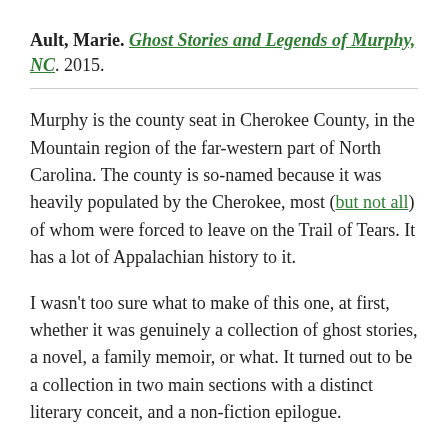Ault, Marie. Ghost Stories and Legends of Murphy, NC. 2015.
Murphy is the county seat in Cherokee County, in the Mountain region of the far-western part of North Carolina. The county is so-named because it was heavily populated by the Cherokee, most (but not all) of whom were forced to leave on the Trail of Tears. It has a lot of Appalachian history to it.
I wasn't too sure what to make of this one, at first, whether it was genuinely a collection of ghost stories, a novel, a family memoir, or what. It turned out to be a collection in two main sections with a distinct literary conceit, and a non-fiction epilogue.
In part one, several children taking refuge upstairs in a house during a storm in the 1920s (for fear of the many floods that used to plague the area before several dams were built) decide